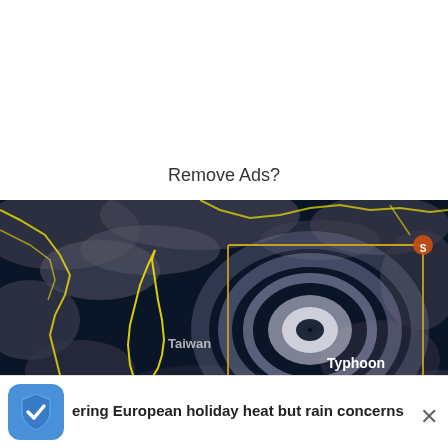Remove Ads?
[Figure (map): Satellite image showing a typhoon labeled 'Typhoon Hinnamnor' east of Taiwan. Yellow outlines indicate coastlines. A gold rectangle highlights the typhoon's eye. A small orange icon appears in the upper right of the rectangle.]
ering European holiday heat but rain concerns
[Figure (logo): Blue shield icon with a white checkmark]